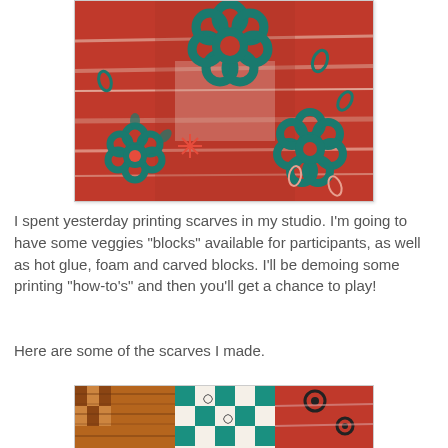[Figure (photo): Close-up of a printed textile/scarf with red background and teal/blue floral block print patterns, circular flower shapes and oval leaf motifs stamped across the fabric.]
I spent yesterday printing scarves in my studio. I'm going to have some veggies "blocks" available for participants, as well as hot glue, foam and carved blocks. I'll be demoing some printing "how-to's" and then you'll get a chance to play!
Here are some of the scarves I made.
[Figure (photo): Bottom portion of another printed scarf showing a checkered pattern with teal and brown/red squares, spiral prints, and floral motifs on white/cream fabric.]